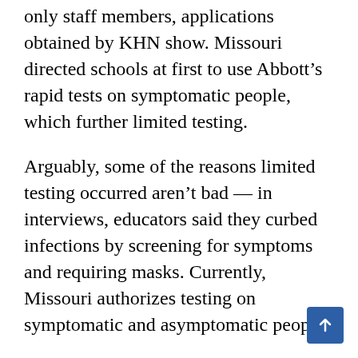only staff members, applications obtained by KHN show. Missouri directed schools at first to use Abbott's rapid tests on symptomatic people, which further limited testing.
Arguably, some of the reasons limited testing occurred aren't bad — in interviews, educators said they curbed infections by screening for symptoms and requiring masks. Currently, Missouri authorizes testing on symptomatic and asymptomatic people.
“In the K-12 space, there really has not been that much testing,” said Dr. Tina Tan, a professo r pediatrician at Northwester University’s